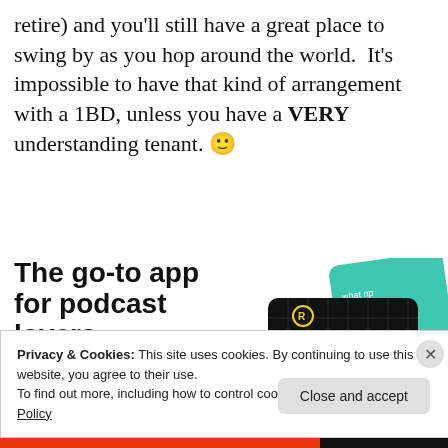retire) and you'll still have a great place to swing by as you hop around the world.  It's impossible to have that kind of arrangement with a 1BD, unless you have a VERY understanding tenant. 🙂
[Figure (infographic): Advertisement for a podcast app. Bold text reads 'The go-to app for podcast lovers.' with a red 'Download now' link. To the right are promotional cards including a black card labeled '99% INVISIBLE' with a yellow square and grid pattern, and a teal card partially visible.]
Privacy & Cookies: This site uses cookies. By continuing to use this website, you agree to their use.
To find out more, including how to control cookies, see here: Cookie Policy
Close and accept